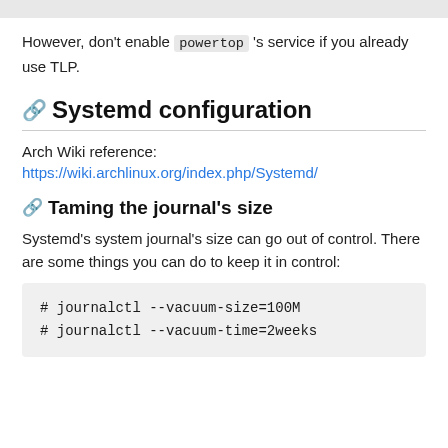However, don't enable powertop 's service if you already use TLP.
Systemd configuration
Arch Wiki reference:
https://wiki.archlinux.org/index.php/Systemd/
Taming the journal's size
Systemd's system journal's size can go out of control. There are some things you can do to keep it in control: